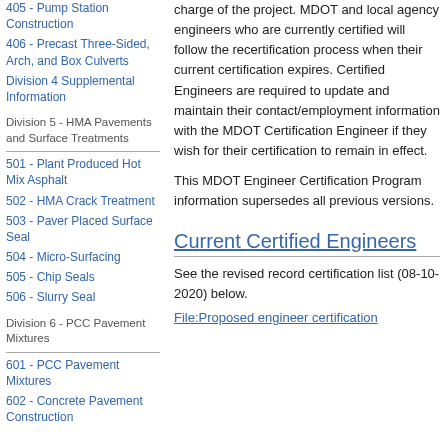405 - Pump Station Construction
406 - Precast Three-Sided, Arch, and Box Culverts
Division 4 Supplemental Information
Division 5 - HMA Pavements and Surface Treatments
501 - Plant Produced Hot Mix Asphalt
502 - HMA Crack Treatment
503 - Paver Placed Surface Seal
504 - Micro-Surfacing
505 - Chip Seals
506 - Slurry Seal
Division 6 - PCC Pavement Mixtures
601 - PCC Pavement Mixtures
602 - Concrete Pavement Construction
charge of the project. MDOT and local agency engineers who are currently certified will follow the recertification process when their current certification expires. Certified Engineers are required to update and maintain their contact/employment information with the MDOT Certification Engineer if they wish for their certification to remain in effect.
This MDOT Engineer Certification Program information supersedes all previous versions.
Current Certified Engineers
See the revised record certification list (08-10-2020) below.
File:Proposed engineer certification